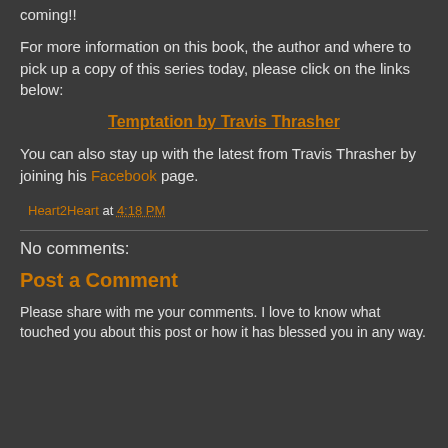coming!!
For more information on this book, the author and where to pick up a copy of this series today, please click on the links below:
Temptation by Travis Thrasher
You can also stay up with the latest from Travis Thrasher by joining his Facebook page.
Heart2Heart at 4:18 PM
No comments:
Post a Comment
Please share with me your comments. I love to know what touched you about this post or how it has blessed you in any way.